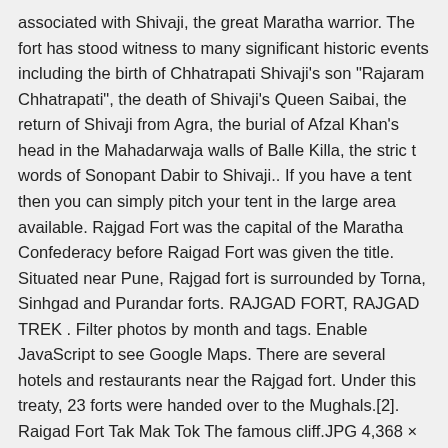associated with Shivaji, the great Maratha warrior. The fort has stood witness to many significant historic events including the birth of Chhatrapati Shivaji's son "Rajaram Chhatrapati", the death of Shivaji's Queen Saibai, the return of Shivaji from Agra, the burial of Afzal Khan's head in the Mahadarwaja walls of Balle Killa, the stric t words of Sonopant Dabir to Shivaji.. If you have a tent then you can simply pitch your tent in the large area available. Rajgad Fort was the capital of the Maratha Confederacy before Raigad Fort was given the title. Situated near Pune, Rajgad fort is surrounded by Torna, Sinhgad and Purandar forts. RAJGAD FORT, RAJGAD TREK . Filter photos by month and tags. Enable JavaScript to see Google Maps. There are several hotels and restaurants near the Rajgad fort. Under this treaty, 23 forts were handed over to the Mughals.[2]. Raigad Fort Tak Mak Tok The famous cliff.JPG 4,368 × 2,912; 4.59 MB Raigad fort towers.jpg 1,600 × 1,200; 311 KB Raigad fort walls hidden in the green.JPG 4,368 × 2,912; 4.18 MB Near Sinhagad Fort. Formerly known as … When you have eliminated the JavaScript , whatever remains must be an empty page. The fort was recaptured by